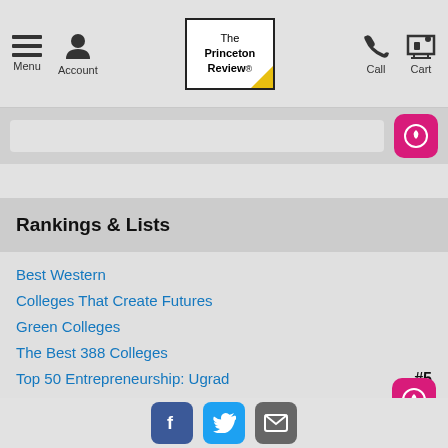Menu  Account  The Princeton Review  Call  Cart
Rankings & Lists
Best Western
Colleges That Create Futures
Green Colleges
The Best 388 Colleges
Top 50 Entrepreneurship: Ugrad  #5
Top 50 Game Design: Ugrad  #1
Top West Entrepreneurship: Ugrad  #4